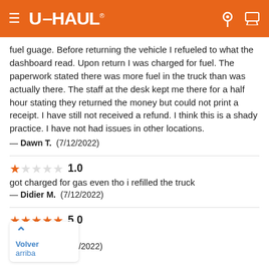U-HAUL
fuel guage. Before returning the vehicle I refueled to what the dashboard read. Upon return I was charged for fuel. The paperwork stated there was more fuel in the truck than was actually there. The staff at the desk kept me there for a half hour stating they returned the money but could not print a receipt. I have still not received a refund. I think this is a shady practice. I have not had issues in other locations.
— Dawn T.  (7/12/2022)
1.0 — got charged for gas even tho i refilled the truck — Didier M.  (7/12/2022)
5.0 — Muy buen — Manuel S.  (7/7/2022)